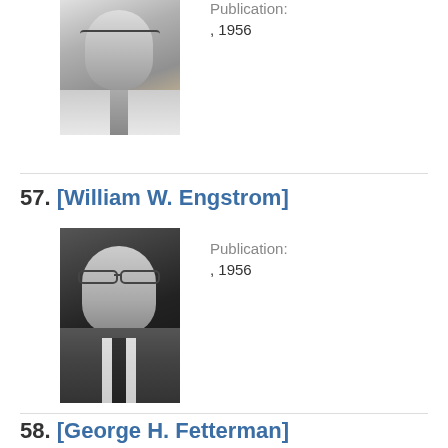[Figure (photo): Black and white portrait photo of a man wearing glasses and a tie, cropped at top (entry 56)]
Publication:
, 1956
57. [William W. Engstrom]
[Figure (photo): Black and white portrait photo of William W. Engstrom, a man in a suit wearing glasses]
Publication:
, 1956
58. [George H. Fetterman]